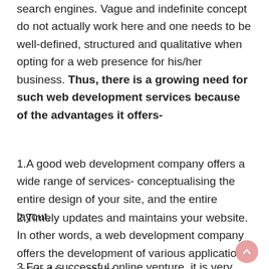search engines. Vague and indefinite concept do not actually work here and one needs to be well-defined, structured and qualitative when opting for a web presence for his/her business. Thus, there is a growing need for such web development services because of the advantages it offers-
1.A good web development company offers a wide range of services- conceptualising the entire design of your site, and the entire layout.
2.Timely updates and maintains your website. In other words, a web development company offers the development of various applications related to a website.
3.For a successful online venture, it is very